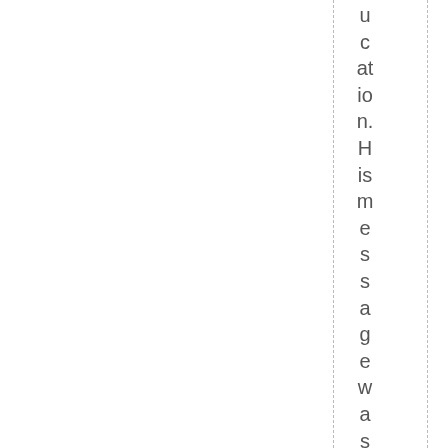ucation. His message was one that man